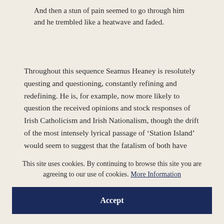And then a stun of pain seemed to go through him
and he trembled like a heatwave and faded.
Throughout this sequence Seamus Heaney is resolutely questing and questioning, constantly refining and redefining. He is, for example, now more likely to question the received opinions and stock responses of Irish Catholicism and Irish Nationalism, though the drift of the most intensely lyrical passage of ‘Station Island’ would seem to suggest that the fatalism of both have
This site uses cookies. By continuing to browse this site you are agreeing to our use of cookies. More Information
Accept